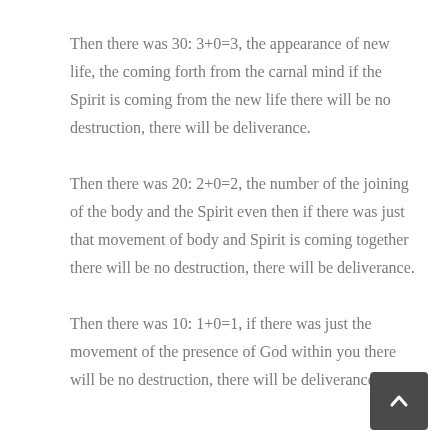Then there was 30: 3+0=3, the appearance of new life, the coming forth from the carnal mind if the Spirit is coming from the new life there will be no destruction, there will be deliverance.
Then there was 20: 2+0=2, the number of the joining of the body and the Spirit even then if there was just that movement of body and Spirit is coming together there will be no destruction, there will be deliverance.
Then there was 10: 1+0=1, if there was just the movement of the presence of God within you there will be no destruction, there will be deliverance.